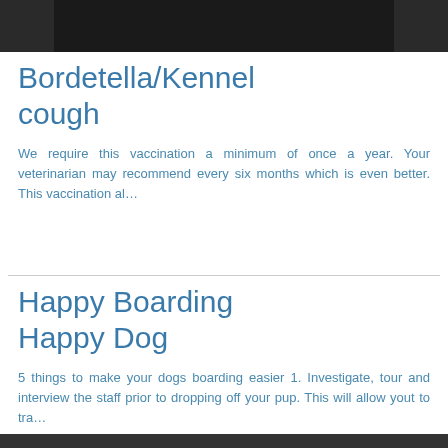[Figure (photo): Dark photo strip at the top of the page, partially visible image of a dog or animal]
Bordetella/Kennel cough
We require this vaccination a minimum of once a year. Your veterinarian may recommend every six months which is even better.  This vaccination al…
Happy Boarding Happy Dog
5 things to make your dogs boarding easier 1. Investigate, tour and interview the staff prior to dropping off your pup.  This will allow yout to tra…